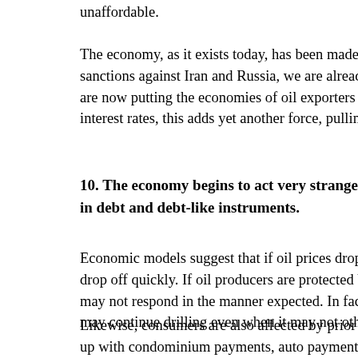unaffordable.
The economy, as it exists today, has been made possible by cou sanctions against Iran and Russia, we are already moving away are now putting the economies of oil exporters at risk. As count interest rates, this adds yet another force, pulling economies apa
10. The economy begins to act very strangely when too muc in debt and debt-like instruments.
Economic models suggest that if oil prices drop, demand for oil drop off quickly. If oil producers are protected by futures contr may not respond in the manner expected. In fact, if they are obl may continue drilling even when it may not otherwise make fin
Likewise, consumers are also affected by prior commitments. If up with condominium payments, auto payments, and payment o ability to respond to lower oil prices. Instead of increasing discr pay off some of their debt with their newfound income.